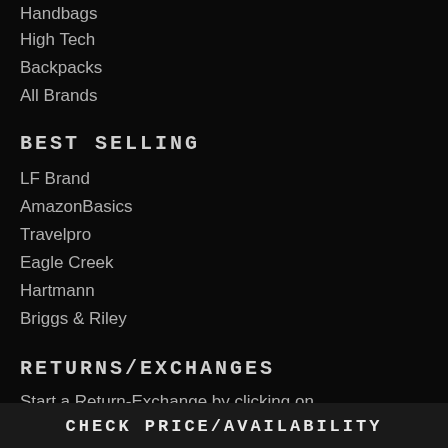Handbags
High Tech
Backpacks
All Brands
BEST SELLING
LF Brand
AmazonBasics
Travelpro
Eagle Creek
Hartmann
Briggs & Riley
RETURNS/EXCHANGES
Start a Return-Exchange by clicking on customer Service Chat. Please Allow 24-48
CHECK PRICE/AVAILABILITY